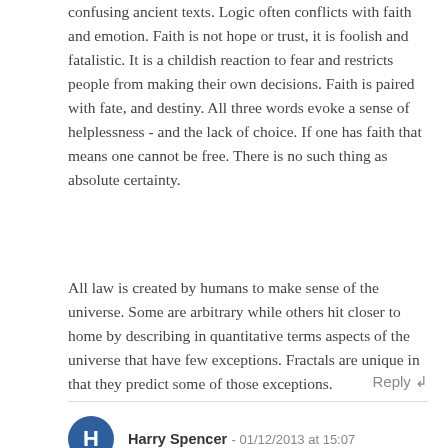confusing ancient texts. Logic often conflicts with faith and emotion. Faith is not hope or trust, it is foolish and fatalistic. It is a childish reaction to fear and restricts people from making their own decisions. Faith is paired with fate, and destiny. All three words evoke a sense of helplessness - and the lack of choice. If one has faith that means one cannot be free. There is no such thing as absolute certainty.
All law is created by humans to make sense of the universe. Some are arbitrary while others hit closer to home by describing in quantitative terms aspects of the universe that have few exceptions. Fractals are unique in that they predict some of those exceptions.
Reply ↲
Harry Spencer - 01/12/2013 at 15:07